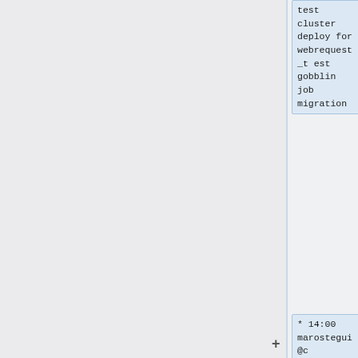test cluster deploy for webrequest_test gobblin job migration
* 14:00 marostegui@cumin1001: dbctl commit (dc=all): 'db2072 (re)pooling @ 100%: Repool after index change', diff saved to